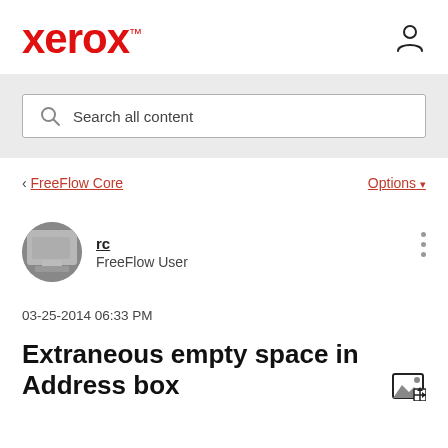xerox™
Search all content
‹ FreeFlow Core   Options ▾
rc
FreeFlow User
03-25-2014 06:33 PM
Extraneous empty space in Address box